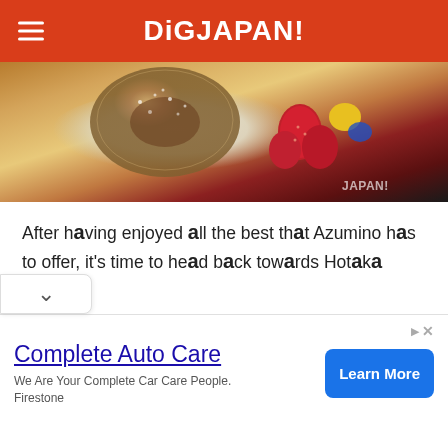DiGJAPAN!
[Figure (photo): Close-up photo of a dessert plate with a powdered sugar dusted pastry and fresh strawberries and other fruits, with a DiGJAPAN! watermark in the bottom right corner.]
After having enjoyed all the best that Azumino has to offer, it's time to head back towards Hotaka Station.
Hotaka Jinja, the Shrine Dedicated to the Gods of Mountains and Seas
[Figure (other): Advertisement banner: Complete Auto Care - We Are Your Complete Car Care People. Firestone. Learn More button.]